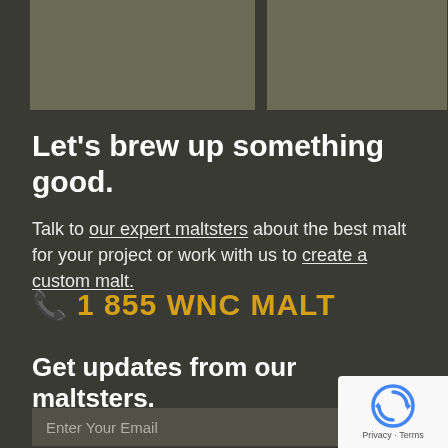[Figure (photo): Two muted olive/grey rectangular image placeholders at the top of the page]
Let's brew up something good.
Talk to our expert maltsters about the best malt for your project or work with us to create a custom malt.
☎ 1 855 WNC MALT
Get updates from our maltsters.
Enter Your Email
[Figure (logo): reCAPTCHA badge with circular arrow icon and Privacy/Terms links]